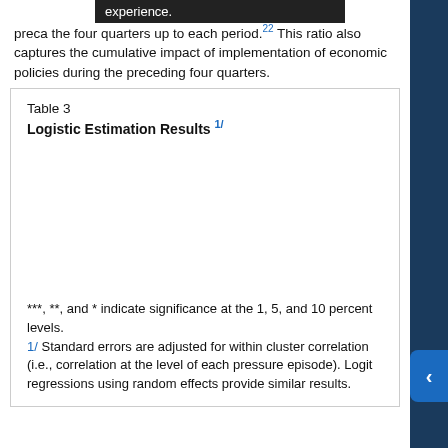preca[...] the four quarters up to each period.22 This ratio also captures the cumulative impact of implementation of economic policies during the preceding four quarters.
Table 3
Logistic Estimation Results 1/
***, **, and * indicate significance at the 1, 5, and 10 percent levels.
1/ Standard errors are adjusted for within cluster correlation (i.e., correlation at the level of each pressure episode). Logit regressions using random effects provide similar results.